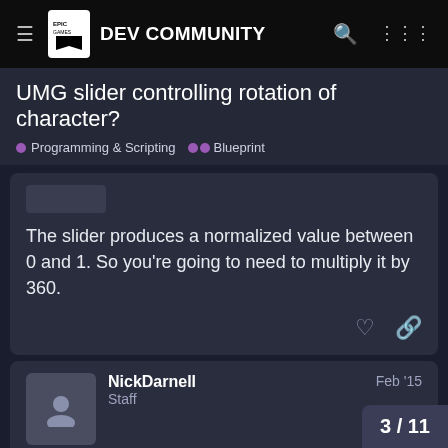Epic Games DEV COMMUNITY
UMG slider controlling rotation of character?
Programming & Scripting  Blueprint
The slider produces a normalized value between 0 and 1. So you're going to need to multiply it by 360.
NickDarnell
Staff
Feb '15
Also you're trying to rotate the player controller, which isn't the representation of the player's avatar in the world. You probably want the player's pawn/character.
3 / 11